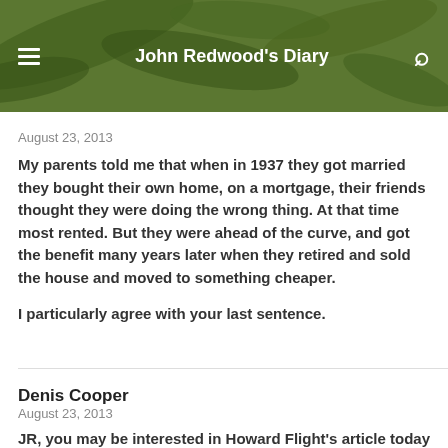John Redwood's Diary
August 23, 2013
My parents told me that when in 1937 they got married they bought their own home, on a mortgage, their friends thought they were doing the wrong thing. At that time most rented. But they were ahead of the curve, and got the benefit many years later when they retired and sold the house and moved to something cheaper.

I particularly agree with your last sentence.
Denis Cooper
August 23, 2013
JR, you may be interested in Howard Flight's article today